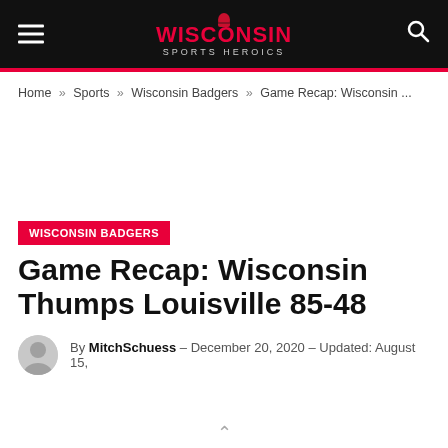Wisconsin Sports Heroics
Home » Sports » Wisconsin Badgers » Game Recap: Wisconsin ...
WISCONSIN BADGERS
Game Recap: Wisconsin Thumps Louisville 85-48
By MitchSchuess — December 20, 2020 — Updated: August 15,